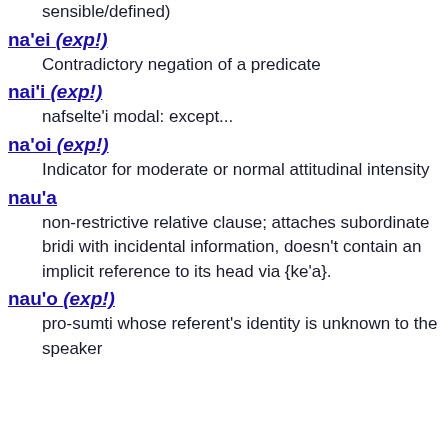sensible/defined)
na'ei (exp!) — Contradictory negation of a predicate
nai'i (exp!) — nafselte'i modal: except...
na'oi (exp!) — Indicator for moderate or normal attitudinal intensity
nau'a — non-restrictive relative clause; attaches subordinate bridi with incidental information, doesn't contain an implicit reference to its head via {ke'a}.
nau'o (exp!) — pro-sumti whose referent's identity is unknown to the speaker